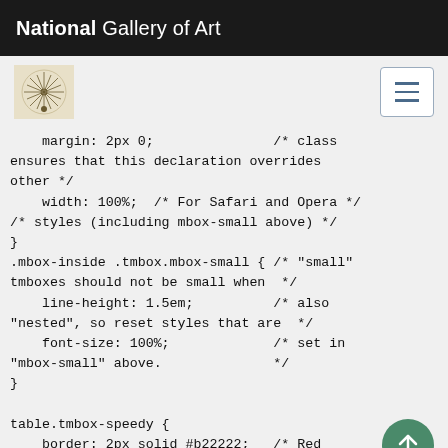National Gallery of Art
[Figure (screenshot): Navigation bar with a decorative icon on the left and a hamburger menu button on the right, on a light grey background]
margin: 2px 0;                /* class
ensures that this declaration overrides
other */
    width: 100%;  /* For Safari and Opera */
/* styles (including mbox-small above) */
}
.mbox-inside .tmbox.mbox-small { /* "small"
tmboxes should not be small when  */
    line-height: 1.5em;           /* also
"nested", so reset styles that are  */
    font-size: 100%;              /* set in
"mbox-small" above.               */
}

table.tmbox-speedy {
    border: 2px solid #b22222;    /* Red
    background: #fee;             /* Pink */